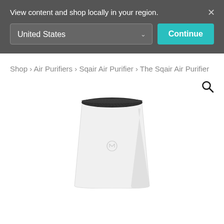View content and shop locally in your region.
United States
Continue
Shop › Air Purifiers › Sqair Air Purifier › The Sqair Air Purifier
[Figure (photo): White Sqair Air Purifier device with rounded trapezoidal body, dark mesh top, and a subtle logo on the front face, shown from a slight angle against a white background.]